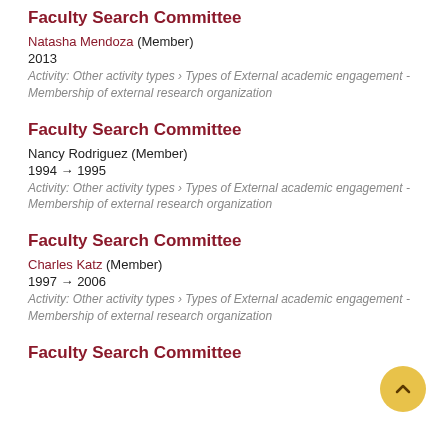Faculty Search Committee
Natasha Mendoza (Member)
2013
Activity: Other activity types › Types of External academic engagement - Membership of external research organization
Faculty Search Committee
Nancy Rodriguez (Member)
1994 → 1995
Activity: Other activity types › Types of External academic engagement - Membership of external research organization
Faculty Search Committee
Charles Katz (Member)
1997 → 2006
Activity: Other activity types › Types of External academic engagement - Membership of external research organization
Faculty Search Committee